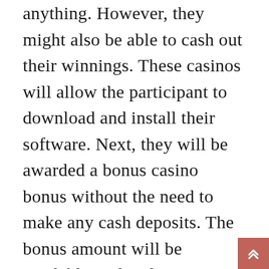anything. However, they might also be able to cash out their winnings. These casinos will allow the participant to download and install their software. Next, they will be awarded a bonus casino bonus without the need to make any cash deposits. The bonus amount will be available to the player once they have started playing. Any winnings can be cashed out after the player has finished playing. This bonus is one of the most attractive for new players. They can play the games, but still be able to take some of their winnings home with them.